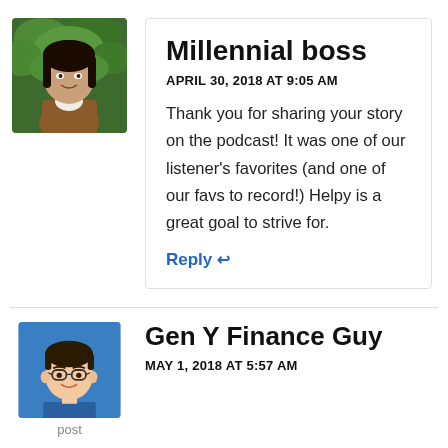[Figure (photo): Avatar photo of Millennial boss — a woman with long dark hair wearing a brown jacket, outdoors with green foliage background]
Millennial boss
APRIL 30, 2018 AT 9:05 AM
Thank you for sharing your story on the podcast! It was one of our listener's favorites (and one of our favs to record!) Helpy is a great goal to strive for.
Reply ↩
[Figure (illustration): Avatar illustration of Gen Y Finance Guy — a cartoon bitmoji-style male face with glasses on a blue background]
post
Gen Y Finance Guy
MAY 1, 2018 AT 5:57 AM